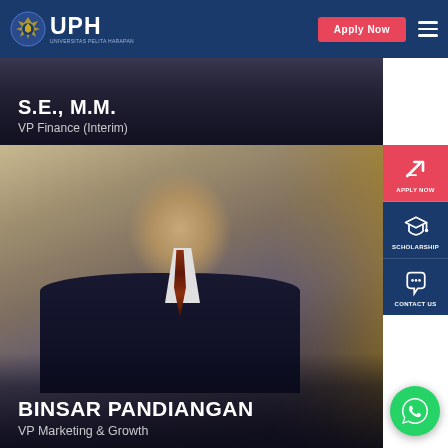[Figure (screenshot): UPH (Universitas Pelita Harapan) website navigation bar with logo, Apply Now button, and hamburger menu on dark blue background]
[Figure (photo): Profile photo card showing credentials S.E., M.M. with title VP Finance (Interim) overlaid on dark background]
S.E., M.M.
VP Finance (Interim)
[Figure (screenshot): Right sidebar with three buttons: Apply Now (red), Scholarship (dark blue), Contact Us (dark blue)]
[Figure (photo): Professional portrait photo of Binsar Pandiangan, a middle-aged Asian man in a dark suit with striped tie, smiling, with decorative golden background]
BINSAR PANDIANGAN
VP Marketing & Growth